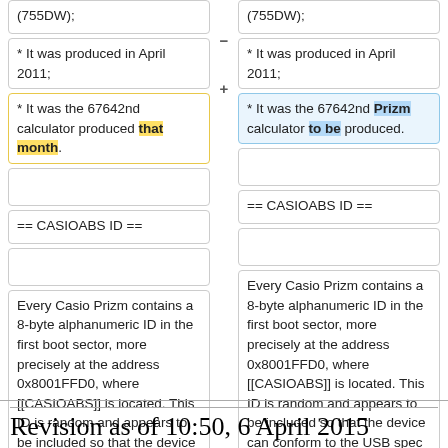(755DW);
(755DW);
* It was produced in April 2011;
* It was produced in April 2011;
* It was the 67642nd calculator produced that month.
* It was the 67642nd Prizm calculator to be produced.
== CASIOABS ID ==
== CASIOABS ID ==
Every Casio Prizm contains a 8-byte alphanumeric ID in the first boot sector, more precisely at the address 0x8001FFD0, where [[CASIOABS]] is located. This ID is random and appears to be included so that the device can conform to the USB spec (according to which every device must expose a unique ID). When connected through USB, the calculator indeed uses this ID.
Every Casio Prizm contains a 8-byte alphanumeric ID in the first boot sector, more precisely at the address 0x8001FFD0, where [[CASIOABS]] is located. This ID is random and appears to be included so that the device can conform to the USB spec (according to which every device must expose a unique ID). When connected through USB, the calculator indeed uses this ID.
Revision as of 10:50, 6 April 2015